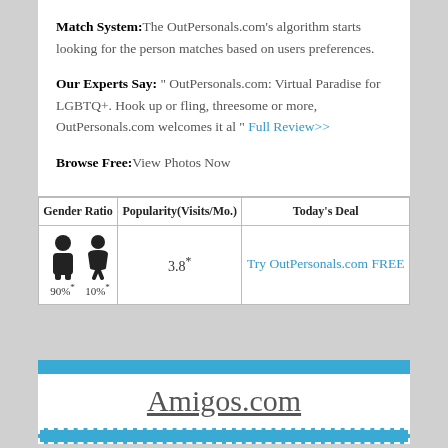Match System: The OutPersonals.com's algorithm starts looking for the person matches based on users preferences.
Our Experts Say: " OutPersonals.com: Virtual Paradise for LGBTQ+. Hook up or fling, threesome or more, OutPersonals.com welcomes it al " Full Review>>
Browse Free: View Photos Now
| Gender Ratio | Popularity(Visits/Mo.) | Today's Deal |
| --- | --- | --- |
| 90%* male / 10%* female | 3.8* | Try OutPersonals.com FREE |
Amigos.com